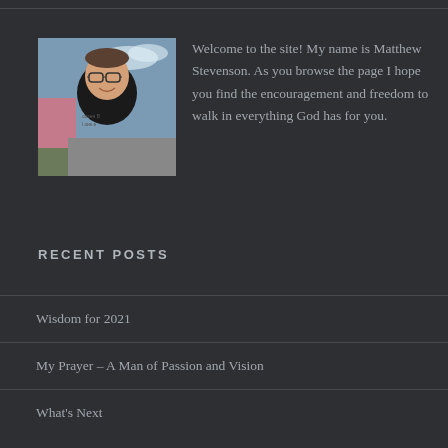[Figure (photo): Headshot photo of Matthew Stevenson, a man with glasses and a black t-shirt, smiling, outdoors with a pink building in the background]
Welcome to the site! My name is Matthew Stevenson. As you browse the page I hope you find the encouragement and freedom to walk in everything God has for you.
RECENT POSTS
Wisdom for 2021
My Prayer – A Man of Passion and Vision
What's Next